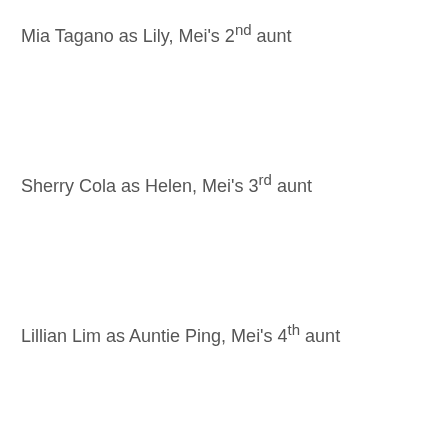Mia Tagano as Lily, Mei's 2nd aunt
Sherry Cola as Helen, Mei's 3rd aunt
Lillian Lim as Auntie Ping, Mei's 4th aunt